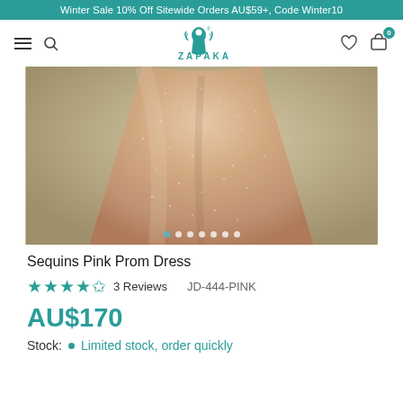Winter Sale 10% Off Sitewide Orders AU$59+, Code Winter10
[Figure (logo): ZAPAKA brand logo with silhouette figure and decorative text]
[Figure (photo): Close-up of a sparkly rose gold sequin prom dress skirt against a warm beige/gold background, with carousel navigation dots at the bottom]
Sequins Pink Prom Dress
★★★★☆ 3 Reviews   JD-444-PINK
AU$170
Stock: • Limited stock, order quickly